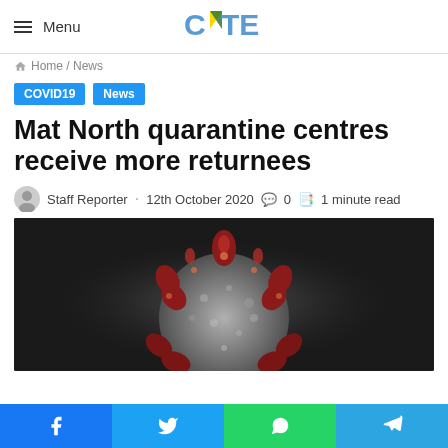Menu | CITE
Home / News
COVID19
News
Mat North quarantine centres receive more returnees
Staff Reporter · 12th October 2020 · 0 · 1 minute read
[Figure (photo): Close-up microscopic image of a coronavirus particle with red spike proteins on a dark background]
Facebook | Twitter | WhatsApp | Telegram